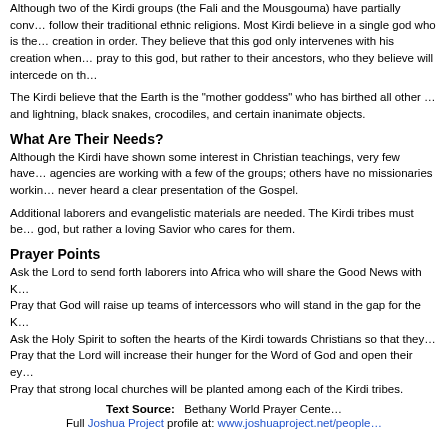Although two of the Kirdi groups (the Fali and the Mousgouma) have partially converted, most still follow their traditional ethnic religions. Most Kirdi believe in a single god who is the creator and sustainer of creation in order. They believe that this god only intervenes with his creation when necessary. They do not pray to this god, but rather to their ancestors, who they believe will intercede on their behalf.
The Kirdi believe that the Earth is the "mother goddess" who has birthed all other spirits, including thunder and lightning, black snakes, crocodiles, and certain inanimate objects.
What Are Their Needs?
Although the Kirdi have shown some interest in Christian teachings, very few have become Christians. Some agencies are working with a few of the groups; others have no missionaries working among them. Most have never heard a clear presentation of the Gospel.
Additional laborers and evangelistic materials are needed. The Kirdi tribes must be shown not an indifferent god, but rather a loving Savior who cares for them.
Prayer Points
Ask the Lord to send forth laborers into Africa who will share the Good News with the Kirdi tribes.
Pray that God will raise up teams of intercessors who will stand in the gap for the Kirdi.
Ask the Holy Spirit to soften the hearts of the Kirdi towards Christians so that they will be receptive.
Pray that the Lord will increase their hunger for the Word of God and open their eyes to the truth.
Pray that strong local churches will be planted among each of the Kirdi tribes.
Text Source: Bethany World Prayer Center
Full Joshua Project profile at: www.joshuaproject.net/people